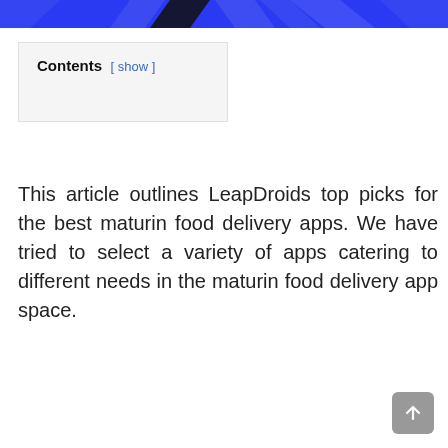Contents [ show ]
This article outlines LeapDroids top picks for the best maturin food delivery apps. We have tried to select a variety of apps catering to different needs in the maturin food delivery app space.